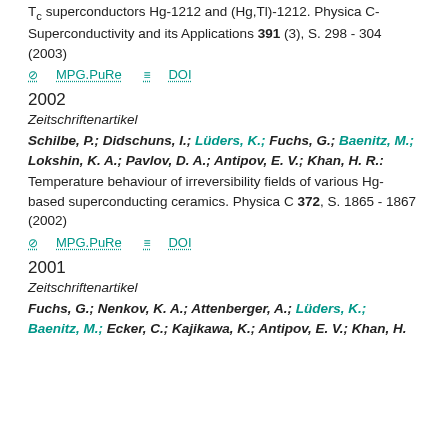T_c superconductors Hg-1212 and (Hg,Tl)-1212. Physica C-Superconductivity and its Applications 391 (3), S. 298 - 304 (2003)
⊘ MPG.PuRe   ≡ DOI
2002
Zeitschriftenartikel
Schilbe, P.; Didschuns, I.; Lüders, K.; Fuchs, G.; Baenitz, M.; Lokshin, K. A.; Pavlov, D. A.; Antipov, E. V.; Khan, H. R.: Temperature behaviour of irreversibility fields of various Hg- based superconducting ceramics. Physica C 372, S. 1865 - 1867 (2002)
⊘ MPG.PuRe   ≡ DOI
2001
Zeitschriftenartikel
Fuchs, G.; Nenkov, K. A.; Attenberger, A.; Lüders, K.; Baenitz, M.; Ecker, C.; Kajikawa, K.; Antipov, E. V.; Khan, H.